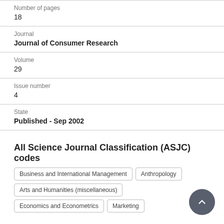Number of pages
18
Journal
Journal of Consumer Research
Volume
29
Issue number
4
State
Published - Sep 2002
All Science Journal Classification (ASJC) codes
Business and International Management
Anthropology
Arts and Humanities (miscellaneous)
Economics and Econometrics
Marketing